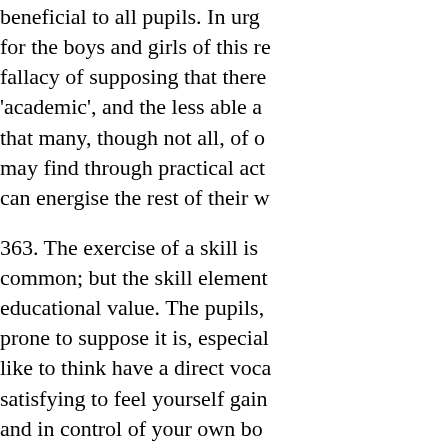beneficial to all pupils. In urging for the boys and girls of this re fallacy of supposing that there 'academic', and the less able a that many, though not all, of o may find through practical act can energise the rest of their w
363. The exercise of a skill is common; but the skill element educational value. The pupils, prone to suppose it is, especial like to think have a direct voca satisfying to feel yourself gain and in control of your own bo disciplines is elusive, it is reas a sewing machine, play an ins next man or woman at least be year.
364. The pride and pleasure of considerable. So is the sheer f new recipe or first time
[ ... 152 ]